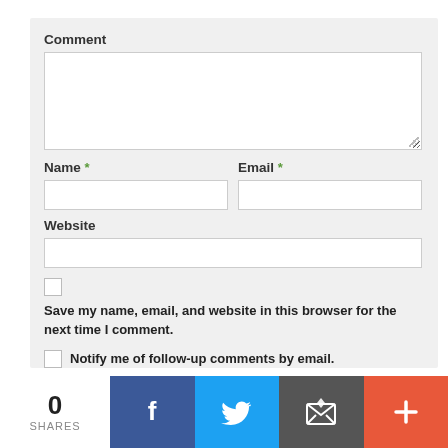Comment
Name *
Email *
Website
Save my name, email, and website in this browser for the next time I comment.
Notify me of follow-up comments by email.
0 SHARES